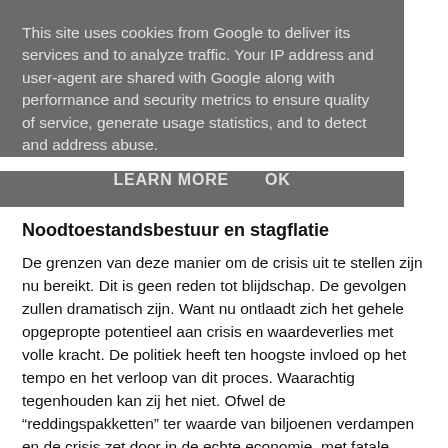This site uses cookies from Google to deliver its services and to analyze traffic. Your IP address and user-agent are shared with Google along with performance and security metrics to ensure quality of service, generate usage statistics, and to detect and address abuse.
LEARN MORE   OK
Noodtoestandsbestuur en stagflatie
De grenzen van deze manier om de crisis uit te stellen zijn nu bereikt. Dit is geen reden tot blijdschap. De gevolgen zullen dramatisch zijn. Want nu ontlaadt zich het gehele opgepropte potentieel aan crisis en waardeverlies met volle kracht. De politiek heeft ten hoogste invloed op het tempo en het verloop van dit proces. Waarachtig tegenhouden kan zij het niet. Ofwel de “reddingspakketten” ter waarde van biljoenen verdampen en de crisis zet door in de echte economie, met fatale gevolgen. Of ze “graaien” nog een keer en exorbitant stijgende